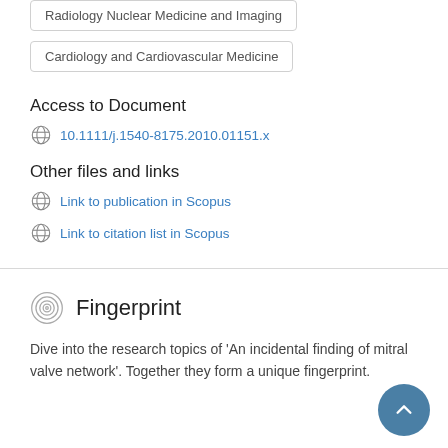Radiology Nuclear Medicine and Imaging
Cardiology and Cardiovascular Medicine
Access to Document
10.1111/j.1540-8175.2010.01151.x
Other files and links
Link to publication in Scopus
Link to citation list in Scopus
Fingerprint
Dive into the research topics of 'An incidental finding of mitral valve network'. Together they form a unique fingerprint.